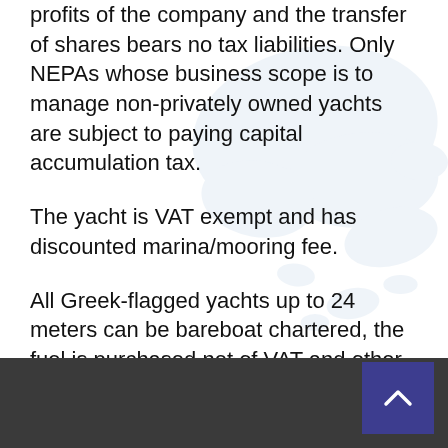profits of the company and the transfer of shares bears no tax liabilities. Only NEPAs whose business scope is to manage non-privately owned yachts are subject to paying capital accumulation tax.
The yacht is VAT exempt and has discounted marina/mooring fee.
All Greek-flagged yachts up to 24 meters can be bareboat chartered, the fuel is purchased net of VAT and other local taxes and VAT on charter fees is only 12% (payable by the charterers).